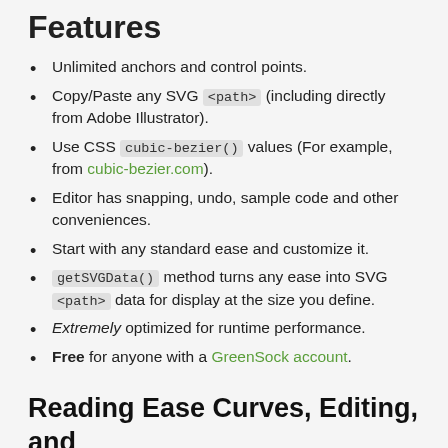Features
Unlimited anchors and control points.
Copy/Paste any SVG <path> (including directly from Adobe Illustrator).
Use CSS cubic-bezier() values (For example, from cubic-bezier.com).
Editor has snapping, undo, sample code and other conveniences.
Start with any standard ease and customize it.
getSVGData() method turns any ease into SVG <path> data for display at the size you define.
Extremely optimized for runtime performance.
Free for anyone with a GreenSock account.
Reading Ease Curves, Editing, and Using CustomEase